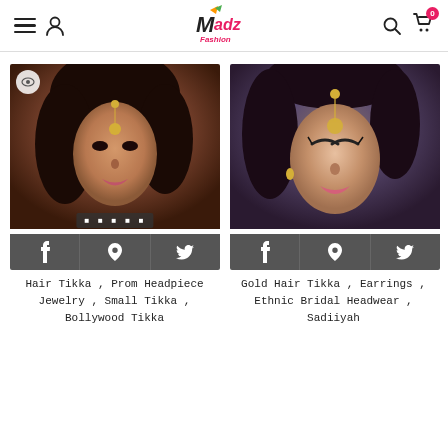Madz Fashion — navigation header with hamburger menu, user icon, logo, search and cart icons
[Figure (photo): Product photo of woman wearing a Hair Tikka headpiece, with social share bar (Facebook, Pinterest, Twitter) at bottom]
Hair Tikka , Prom Headpiece Jewelry , Small Tikka , Bollywood Tikka
[Figure (photo): Product photo of woman wearing Gold Hair Tikka and earrings bridal headwear, with social share bar at bottom]
Gold Hair Tikka , Earrings , Ethnic Bridal Headwear , Sadiiyah